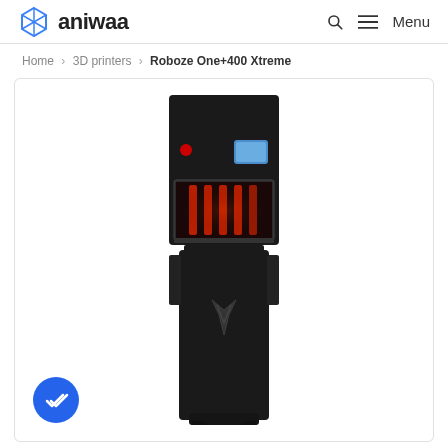aniwaa — Menu
Home › 3D printers › Roboze One+400 Xtreme
[Figure (photo): Roboze One+400 Xtreme 3D printer — a tall black industrial FDM printer with a transparent build chamber showing red illuminated components inside, a small touch screen on the upper right, a red indicator light on the upper left, and a Roboze logo on the lower body. A blue circular badge with a double-check/verified icon is in the lower-left corner of the product card.]